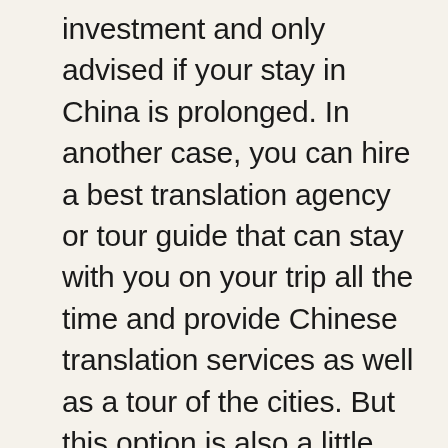investment and only advised if your stay in China is prolonged. In another case, you can hire a best translation agency or tour guide that can stay with you on your trip all the time and provide Chinese translation services as well as a tour of the cities. But this option is also a little expensive and might not be feasible for many people. Another great option, which will require minimal effort and the least amount of money is getting Chinese translation services online. The Internet is full of websites that provide a Chinese translation of everyday short phrases as well as teach how to communicate